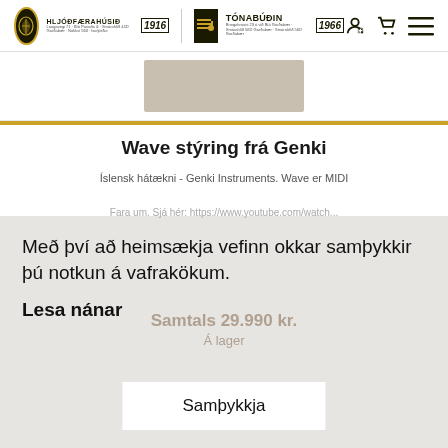HLJÓÐFÆRAHÚSIÐ 1916 / TÓNABÚÐIN 1966
[Figure (illustration): Product image area with beige/tan placeholder rectangle]
Wave stýring frá Genki
Íslensk hátækni - Genki Instruments. Wave er MIDI...
Með því að heimsækja vefinn okkar samþykkir þú notkun á vafrakökum.
Lesa nánar
Samtals 29.990 kr.
Á lager
Samþykkja